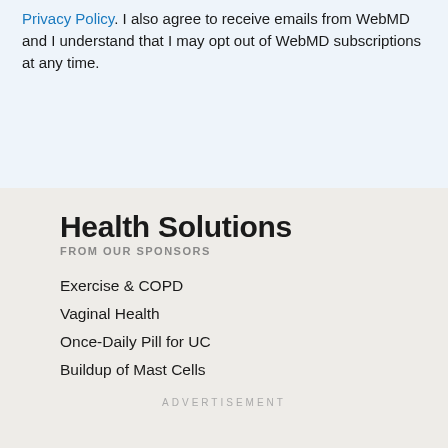Privacy Policy. I also agree to receive emails from WebMD and I understand that I may opt out of WebMD subscriptions at any time.
Health Solutions
FROM OUR SPONSORS
Exercise & COPD
Vaginal Health
Once-Daily Pill for UC
Buildup of Mast Cells
ADVERTISEMENT